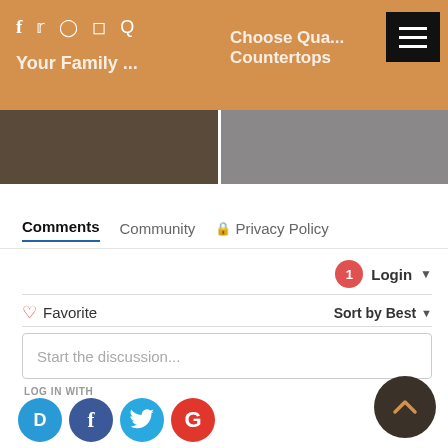Social icons: f, twitter, pinterest, instagram, Q | Header navigation with hamburger menu | Text overlays: 'Your Family...' and 'Choose Qua... Countertops'
[Figure (screenshot): Two article thumbnail images side by side below the orange header bar]
Comments   Community   Privacy Policy
Login ▾
♡ Favorite
Sort by Best ▾
Start the discussion...
LOG IN WITH
[Figure (logo): Social login buttons: Disqus (D), Facebook (f), Twitter bird, Google (G)]
OR SIGN UP WITH DISQUS ?
Name